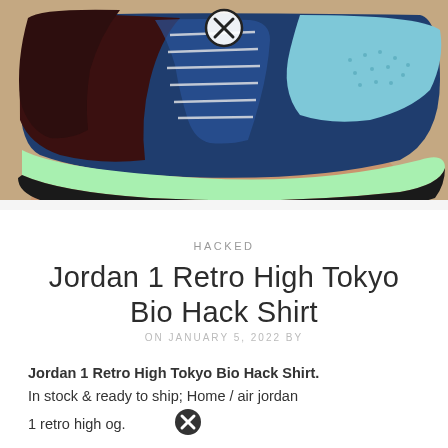[Figure (photo): A hand holding a sneaker — Jordan 1 Retro High Tokyo Bio Hack — showing the side profile with dark navy/maroon upper, light blue toe box and ankle, and mint/lime green midsole and outsole. A close button (X in circle) overlays the top center of the image.]
HACKED
Jordan 1 Retro High Tokyo Bio Hack Shirt
ON JANUARY 5, 2022 BY
Jordan 1 Retro High Tokyo Bio Hack Shirt. In stock & ready to ship; Home / air jordan 1 retro high og.